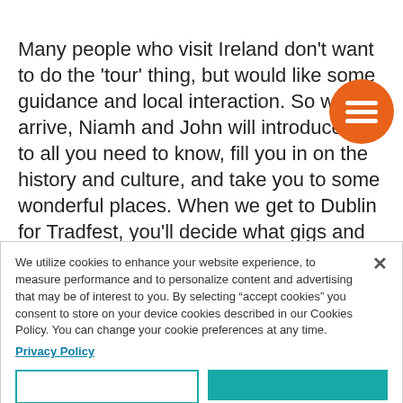Many people who visit Ireland don't want to do the 'tour' thing, but would like some guidance and local interaction. So when arrive, Niamh and John will introduce you to all you need to know, fill you in on the history and culture, and take you to some wonderful places. When we get to Dublin for Tradfest, you'll decide what gigs and events to go to, who to go with, at your own pace and time.
[Figure (illustration): Orange circular menu button with three horizontal white lines (hamburger menu icon)]
We utilize cookies to enhance your website experience, to measure performance and to personalize content and advertising that may be of interest to you. By selecting “accept cookies” you consent to store on your device cookies described in our Cookies Policy. You can change your cookie preferences at any time.
Privacy Policy